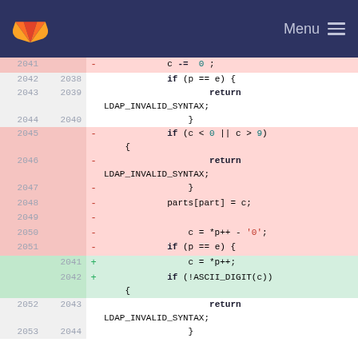GitLab — Menu
[Figure (screenshot): Code diff view showing lines 2041-2053 with deleted (red) and added (green) lines of C code involving LDAP_INVALID_SYNTAX checks and ASCII digit validation]